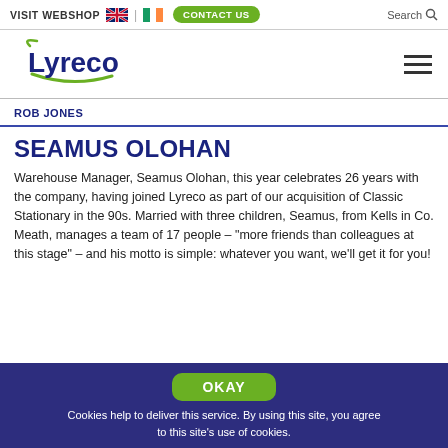VISIT WEBSHOP | CONTACT US | Search
[Figure (logo): Lyreco company logo with green swoosh and dark blue bold text]
ROB JONES
SEAMUS OLOHAN
Warehouse Manager, Seamus Olohan, this year celebrates 26 years with the company, having joined Lyreco as part of our acquisition of Classic Stationary in the 90s. Married with three children, Seamus, from Kells in Co. Meath, manages a team of 17 people – "more friends than colleagues at this stage" – and his motto is simple: whatever you want, we'll get it for you!
OKAY
Cookies help to deliver this service. By using this site, you agree to this site's use of cookies.